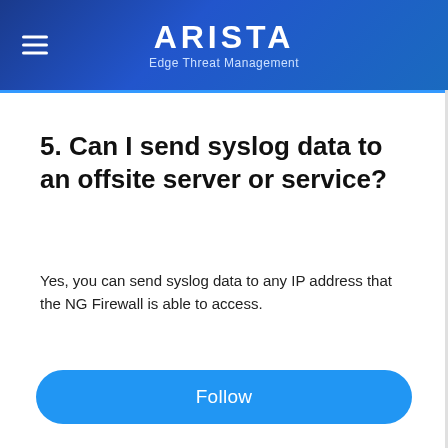ARISTA Edge Threat Management
5. Can I send syslog data to an offsite server or service?
Yes, you can send syslog data to any IP address that the NG Firewall is able to access.
Follow